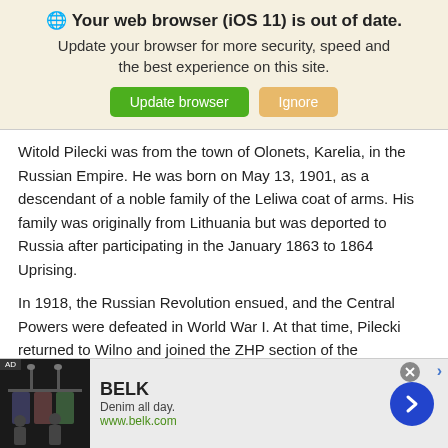🌐 Your web browser (iOS 11) is out of date. Update your browser for more security, speed and the best experience on this site. [Update browser] [Ignore]
Witold Pilecki was from the town of Olonets, Karelia, in the Russian Empire. He was born on May 13, 1901, as a descendant of a noble family of the Leliwa coat of arms. His family was originally from Lithuania but was deported to Russia after participating in the January 1863 to 1864 Uprising.
In 1918, the Russian Revolution ensued, and the Central Powers were defeated in World War I. At that time, Pilecki returned to Wilno and joined the ZHP section of the
[Figure (screenshot): Advertisement banner for BELK: 'Denim all day. www.belk.com' with store image on left and blue arrow button on right.]